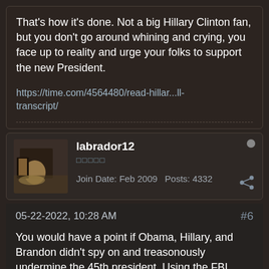That's how it's done. Not a big Hillary Clinton fan, but you don't go around whining and crying, you face up to reality and urge your folks to support the new President.
https://time.com/4564480/read-hillar...ll-transcript/
labrador12
Join Date: Feb 2009   Posts: 4332
05-22-2022, 10:28 AM
#6
You would have a point if Obama, Hillary, and Brandon didn't spy on and treasonously undermine the 45th president. Using the FBI